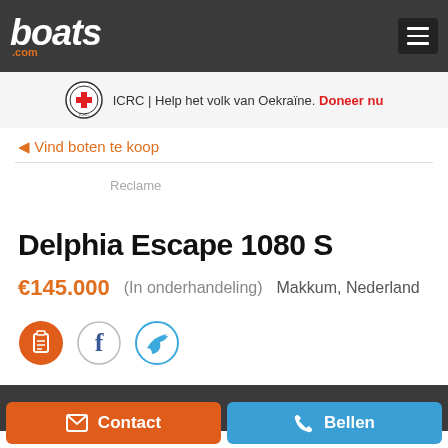boats.com
[Figure (infographic): ICRC Red Cross logo with banner: ICRC | Help het volk van Oekraïne. Doneer nu]
◀ Vind boten te koop
Reclame
Delphia Escape 1080 S
€145.000  (In onderhandeling)  Makkum, Nederland
[Figure (infographic): Social share icons: print (orange circle), Facebook (f circle), Twitter (bird circle)]
Contact
Bellen